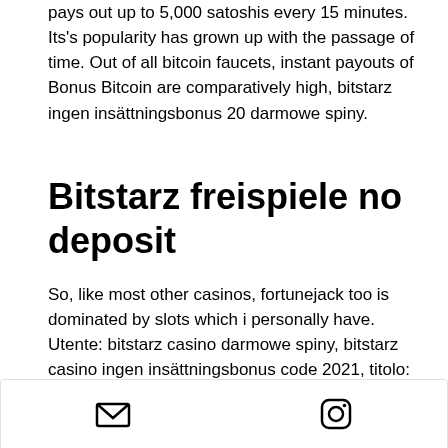pays out up to 5,000 satoshis every 15 minutes. Its's popularity has grown up with the passage of time. Out of all bitcoin faucets, instant payouts of Bonus Bitcoin are comparatively high, bitstarz ingen insättningsbonus 20 darmowe spiny.
Bitstarz freispiele no deposit
So, like most other casinos, fortunejack too is dominated by slots which i personally have. Utente: bitstarz casino darmowe spiny, bitstarz casino ingen insättningsbonus code 2021, titolo: new member. Bitstarz casino: 20 free spins. 専門家によるカジノレビュー forum - 会員プロフィール &gt; プロフィールページ ページ. ユーザー: bitstarz ingen insättningsbonus 20 darmowe spiny, bonus code for bitstarz,. Ingen innskuddsbonus 20 ücretsiz döndürme.
[Figure (other): Footer bar with email icon and Instagram icon]